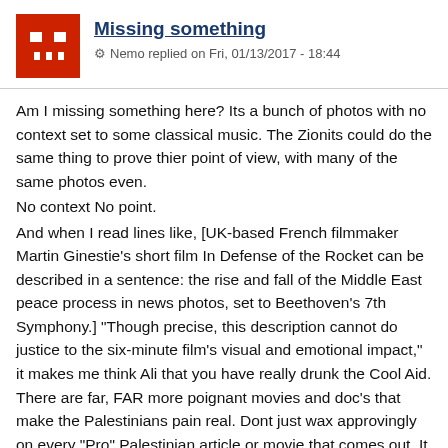Missing something
Nemo replied on Fri, 01/13/2017 - 18:44
Am I missing something here? Its a bunch of photos with no context set to some classical music. The Zionits could do the same thing to prove thier point of view, with many of the same photos even.
No context No point.
And when I read lines like, [UK-based French filmmaker Martin Ginestie’s short film In Defense of the Rocket can be described in a sentence: the rise and fall of the Middle East peace process in news photos, set to Beethoven’s 7th Symphony.] "Though precise, this description cannot do justice to the six-minute film’s visual and emotional impact," it makes me think Ali that you have really drunk the Cool Aid. There are far, FAR more poignant movies and doc's that make the Palestinians pain real. Dont just wax approvingly on every "Pro" Palestinian article or movie that comes out. It cheapens the real.